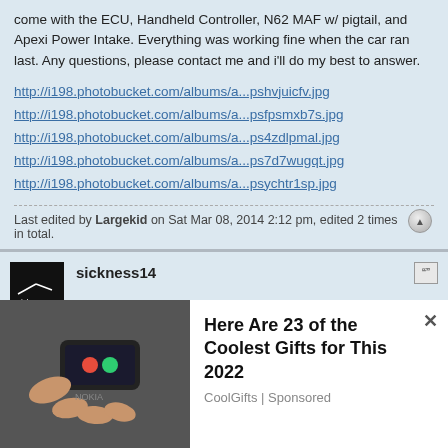come with the ECU, Handheld Controller, N62 MAF w/ pigtail, and Apexi Power Intake. Everything was working fine when the car ran last. Any questions, please contact me and i'll do my best to answer.
http://i198.photobucket.com/albums/a...pshvjuicfv.jpg
http://i198.photobucket.com/albums/a...psfpsmxb7s.jpg
http://i198.photobucket.com/albums/a...ps4zdlpmal.jpg
http://i198.photobucket.com/albums/a...ps7d7wugqt.jpg
http://i198.photobucket.com/albums/a...psychtr1sp.jpg
Last edited by Largekid on Sat Mar 08, 2014 2:12 pm, edited 2 times in total.
sickness14
Re: RB Classifieds - RB engine Parts Only
Tue Feb 25, 2014 8:41 pm
ocation: Houston TX
Will ship at buyers expense
Contact by text or email
Here Are 23 of the Coolest Gifts for This 2022
CoolGifts | Sponsored